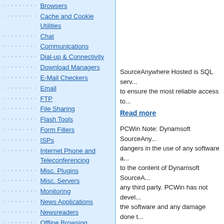Browsers
Cache and Cookie Utilities
Chat
Communications
Dial-up & Connectivity
Download Managers
E-Mail Checkers
Email
FTP
File Sharing
Flash Tools
Form Fillers
ISPs
Internet Phone and Teleconferencing
Misc. Plugins
Misc. Servers
Monitoring
News Applications
Newsreaders
Offline Browsing
Online Privacy
Parental Filters
Pop Up Blockers
Proxy Servers
RSS & Web Blog Tools
Remote Access
Ringtone Tools
SMS
Terminal and General Utils
Tools & Utilities
Usenet Binary Downloaders
Web Accelerators
Web Search Utilities
Web Servers
SourceAnywhere Hosted is SQL serv... to ensure the most reliable access to...
Read more
PCWin Note: Dynamsoft SourceAnyw... dangers in the use of any software a... to the content of Dynamsoft SourceA... any third party. PCWin has not devel... the software and any damage done t... equipment used in connection with u...
Platform: Windows
Category: Internet / Misc. Plugins
DOWNLOAD | HOMEPAGE | REPORT
Review Dynamsoft Sourc...
Your Name: